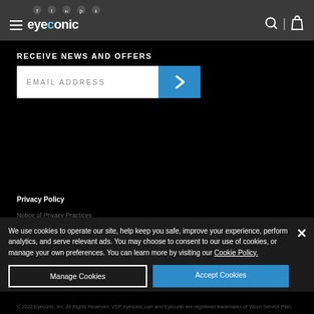eyeconic
RECEIVE NEWS AND OFFERS
[Figure (screenshot): Email address input field with blue submit arrow button]
Privacy Policy
Notice of Privacy Practices
Terms of Service
Cookie Policy
We use cookies to operate our site, help keep you safe, improve your experience, perform analytics, and serve relevant ads. You may choose to consent to our use of cookies, or manage your own preferences. You can learn more by visiting our Cookie Policy.
Manage Cookies | Accept Cookies
© 2022 Eyeconic, Inc. All Rights Reserved. VSP, eyeconic.com and Eyeconic are registered trademarks of Vision Service Plan.